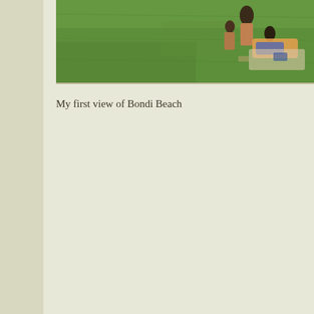[Figure (photo): Photo of people lounging on a bright green grassy field, viewed from above or at an angle. Two or more people are visible on the right side of the frame lying on the grass.]
My first view of Bondi Beach